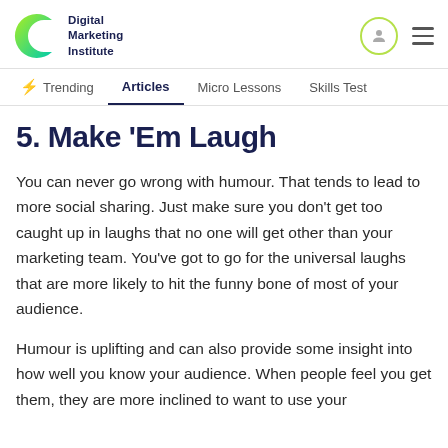Digital Marketing Institute
5. Make ‘Em Laugh
You can never go wrong with humour. That tends to lead to more social sharing. Just make sure you don’t get too caught up in laughs that no one will get other than your marketing team. You’ve got to go for the universal laughs that are more likely to hit the funny bone of most of your audience.
Humour is uplifting and can also provide some insight into how well you know your audience. When people feel you get them, they are more inclined to want to use your